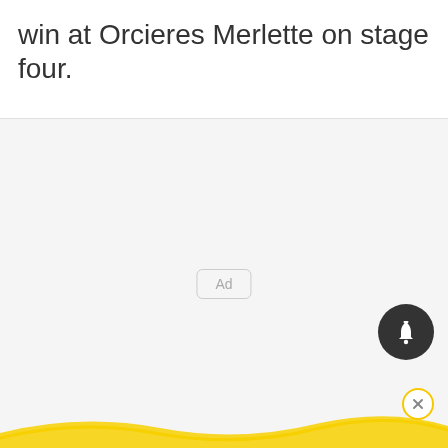win at Orcieres Merlette on stage four.
[Figure (other): Advertisement placeholder area with 'Ad' label, notification bell button, yellow wave decoration at bottom, and close button]